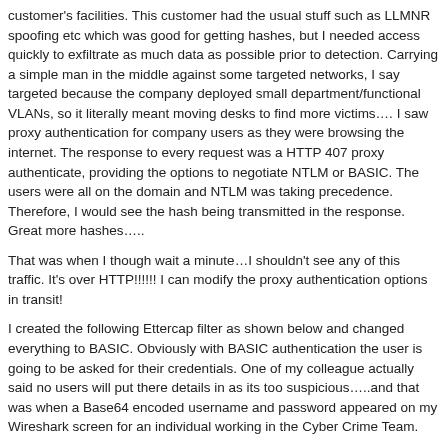customer's facilities. This customer had the usual stuff such as LLMNR spoofing etc which was good for getting hashes, but I needed access quickly to exfiltrate as much data as possible prior to detection. Carrying a simple man in the middle against some targeted networks, I say targeted because the company deployed small department/functional VLANs, so it literally meant moving desks to find more victims…. I saw proxy authentication for company users as they were browsing the internet. The response to every request was a HTTP 407 proxy authenticate, providing the options to negotiate NTLM or BASIC. The users were all on the domain and NTLM was taking precedence. Therefore, I would see the hash being transmitted in the response. Great more hashes…..
That was when I though wait a minute…I shouldn't see any of this traffic. It's over HTTP!!!!!! I can modify the proxy authentication options in transit!
I created the following Ettercap filter as shown below and changed everything to BASIC. Obviously with BASIC authentication the user is going to be asked for their credentials. One of my colleague actually said no users will put there details in as its too suspicious…..and that was when a Base64 encoded username and password appeared on my Wireshark screen for an individual working in the Cyber Crime Team.